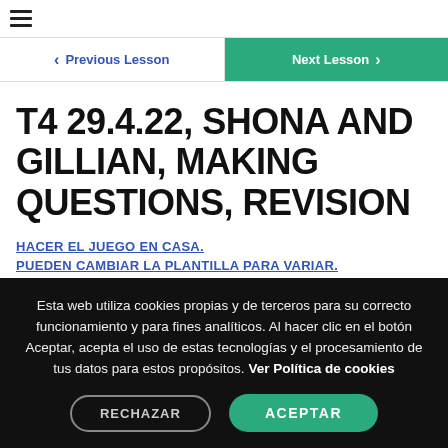☰
< Previous Lesson   Next Lesson >
T4 29.4.22, SHONA AND GILLIAN, MAKING QUESTIONS, REVISION
HACER EL JUEGO EN CASA.
PUEDEN CAMBIAR LA PLANTILLA PARA VARIAR.
Esta web utiliza cookies propias y de terceros para su correcto funcionamiento y para fines analíticos. Al hacer clic en el botón Aceptar, acepta el uso de estas tecnologías y el procesamiento de tus datos para estos propósitos. Ver Política de cookies
RECHAZAR
ACEPTAR